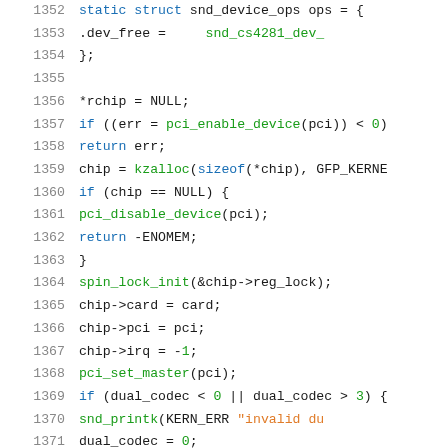Source code listing, lines 1352-1372, C kernel code snippet
1352    static struct snd_device_ops ops = {
1353            .dev_free =     snd_cs4281_dev_
1354    };
1355
1356    *rchip = NULL;
1357    if ((err = pci_enable_device(pci)) < 0)
1358            return err;
1359    chip = kzalloc(sizeof(*chip), GFP_KERNE
1360    if (chip == NULL) {
1361            pci_disable_device(pci);
1362            return -ENOMEM;
1363    }
1364    spin_lock_init(&chip->reg_lock);
1365    chip->card = card;
1366    chip->pci = pci;
1367    chip->irq = -1;
1368    pci_set_master(pci);
1369    if (dual_codec < 0 || dual_codec > 3) {
1370            snd_printk(KERN_ERR "invalid du
1371            dual_codec = 0;
1372    }